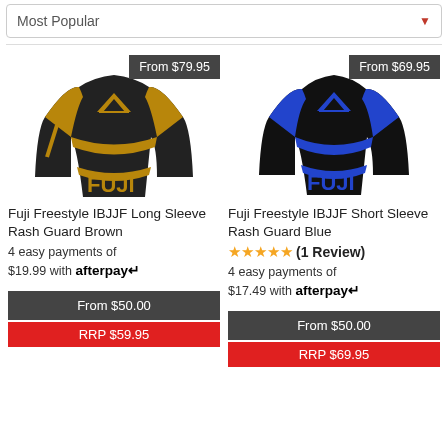Most Popular
[Figure (photo): Fuji Freestyle IBJJF Long Sleeve Rash Guard in brown and black with gold accents, displayed on a mannequin form. Price badge: From $79.95]
Fuji Freestyle IBJJF Long Sleeve Rash Guard Brown
4 easy payments of $19.99 with afterpay
From $50.00
RRP $59.95
[Figure (photo): Fuji Freestyle IBJJF Short Sleeve Rash Guard in black and blue, displayed on a mannequin form. Price badge: From $69.95]
Fuji Freestyle IBJJF Short Sleeve Rash Guard Blue
★★★★★ (1 Review)
4 easy payments of $17.49 with afterpay
From $50.00
RRP $69.95